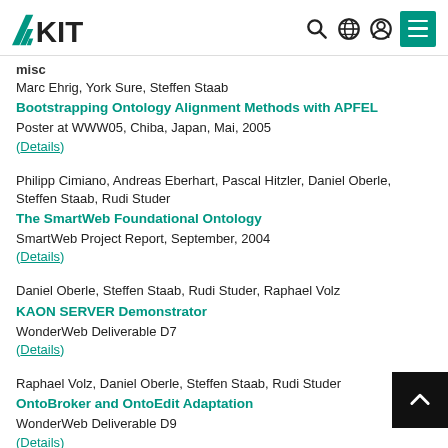KIT (logo) with search, globe, user, and menu icons
misc
Marc Ehrig, York Sure, Steffen Staab
Bootstrapping Ontology Alignment Methods with APFEL
Poster at WWW05, Chiba, Japan, Mai, 2005
(Details)
Philipp Cimiano, Andreas Eberhart, Pascal Hitzler, Daniel Oberle, Steffen Staab, Rudi Studer
The SmartWeb Foundational Ontology
SmartWeb Project Report, September, 2004
(Details)
Daniel Oberle, Steffen Staab, Rudi Studer, Raphael Volz
KAON SERVER Demonstrator
WonderWeb Deliverable D7
(Details)
Raphael Volz, Daniel Oberle, Steffen Staab, Rudi Studer
OntoBroker and OntoEdit Adaptation
WonderWeb Deliverable D9
(Details)